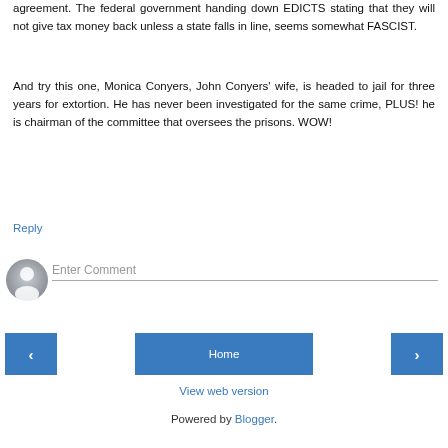agreement. The federal government handing down EDICTS stating that they will not give tax money back unless a state falls in line, seems somewhat FASCIST.
And try this one, Monica Conyers, John Conyers' wife, is headed to jail for three years for extortion. He has never been investigated for the same crime, PLUS! he is chairman of the committee that oversees the prisons. WOW!
Reply
[Figure (other): User avatar icon placeholder - grey circle with person silhouette]
Enter Comment
‹
Home
›
View web version
Powered by Blogger.